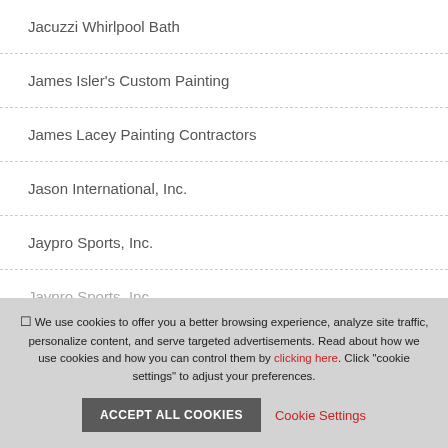Jacuzzi Whirlpool Bath
James Isler's Custom Painting
James Lacey Painting Contractors
Jason International, Inc.
Jaypro Sports, Inc.
We use cookies to offer you a better browsing experience, analyze site traffic, personalize content, and serve targeted advertisements. Read about how we use cookies and how you can control them by clicking here. Click "cookie settings" to adjust your preferences.
ACCEPT ALL COOKIES
Cookie Settings